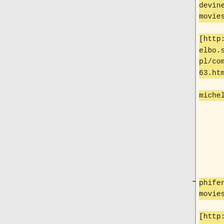devine nude movies] [http://domtelbo.strefa.pl/comment1263.htm michele phifer movies]
[http://www11.atpages.jp/domrolc//2009-02-11-ivanhoe-movie.html ivanhoe movie 1952] [http://www11.atpages.jp/henfide//872.htm michael